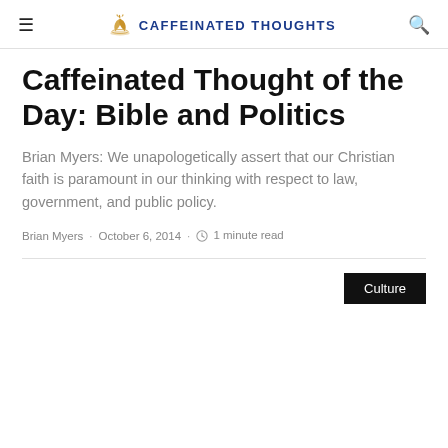CAFFEINATED THOUGHTS
Caffeinated Thought of the Day: Bible and Politics
Brian Myers: We unapologetically assert that our Christian faith is paramount in our thinking with respect to law, government, and public policy.
Brian Myers · October 6, 2014 · 1 minute read
Culture